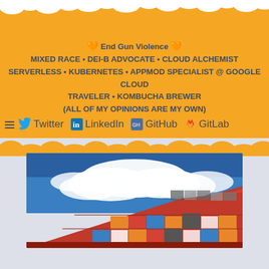🧡 End Gun Violence 🧡
MIXED RACE • DEI-B ADVOCATE • CLOUD ALCHEMIST
SERVERLESS • KUBERNETES • APPMOD SPECIALIST @ GOOGLE CLOUD
TRAVELER • KOMBUCHA BREWER
(ALL OF MY OPINIONS ARE MY OWN)
Twitter  LinkedIn  GitHub  GitLab
[Figure (photo): Photograph of a red building or freight train car with colorful shipping containers, under a blue sky with white clouds]